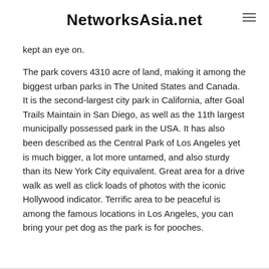NetworksAsia.net
kept an eye on.
The park covers 4310 acre of land, making it among the biggest urban parks in The United States and Canada. It is the second-largest city park in California, after Goal Trails Maintain in San Diego, as well as the 11th largest municipally possessed park in the USA. It has also been described as the Central Park of Los Angeles yet is much bigger, a lot more untamed, and also sturdy than its New York City equivalent. Great area for a drive walk as well as click loads of photos with the iconic Hollywood indicator. Terrific area to be peaceful is among the famous locations in Los Angeles, you can bring your pet dog as the park is for pooches.